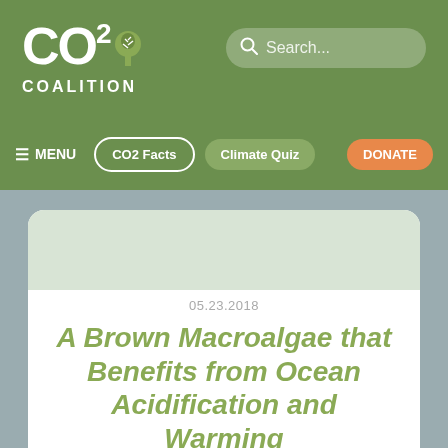CO2 Coalition
Search...
≡ MENU  CO2 Facts  Climate Quiz  DONATE
05.23.2018
A Brown Macroalgae that Benefits from Ocean Acidification and Warming
Share This  Tweet This  Email This
Paper Reviewed. Posted May 23, 2018. Celis, Plé, R.S.M...